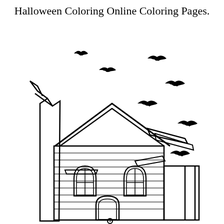Halloween Coloring Online Coloring Pages.
[Figure (illustration): Halloween coloring page showing a spooky haunted house with horizontal siding, two arched windows with cross panes, a broken roof with damaged rafters, a large tree trunk on the left, a front door with a rounded arch at the bottom center, a porch with vertical posts on the right, and multiple flying bats scattered in the upper right area of the image.]